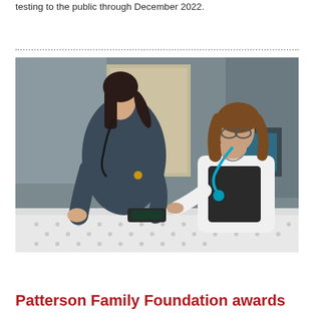testing to the public through December 2022.
[Figure (photo): Two women in a medical setting — one wearing dark scrubs with a stethoscope bending over a patient on a table, and one in a white lab coat with a blue stethoscope observing. Medical equipment and a monitor are visible in the background.]
Patterson Family Foundation awards